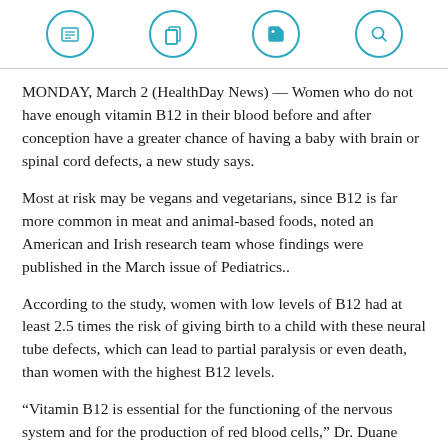[Navigation icons: newspaper, copy, tag, search]
MONDAY, March 2 (HealthDay News) — Women who do not have enough vitamin B12 in their blood before and after conception have a greater chance of having a baby with brain or spinal cord defects, a new study says.
Most at risk may be vegans and vegetarians, since B12 is far more common in meat and animal-based foods, noted an American and Irish research team whose findings were published in the March issue of Pediatrics..
According to the study, women with low levels of B12 had at least 2.5 times the risk of giving birth to a child with these neural tube defects, which can lead to partial paralysis or even death, than women with the highest B12 levels.
“Vitamin B12 is essential for the functioning of the nervous system and for the production of red blood cells,” Dr. Duane